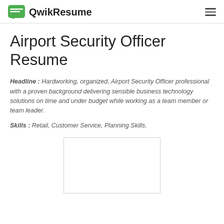QwikResume
Airport Security Officer Resume
Headline : Hardworking, organized, Airport Security Officer professional with a proven background delivering sensible business technology solutions on time and under budget while working as a team member or team leader.
Skills : Retail, Customer Service, Planning Skills.
[Figure (other): Blank resume preview box/thumbnail]